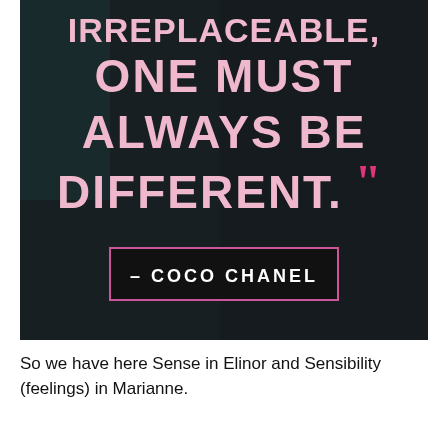[Figure (photo): Dark moody background photo of a person sitting, overlaid with large pink text of a Coco Chanel quote: 'IRREPLACEABLE, ONE MUST ALWAYS BE DIFFERENT.' with closing pink quotation marks, and a white-bordered box at the bottom reading '– COCO CHANEL']
So we have here Sense in Elinor and Sensibility (feelings) in Marianne.